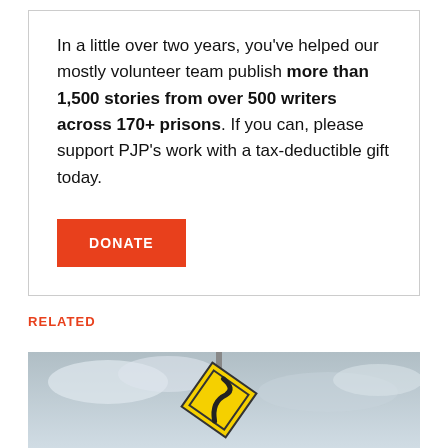In a little over two years, you've helped our mostly volunteer team publish more than 1,500 stories from over 500 writers across 170+ prisons. If you can, please support PJP's work with a tax-deductible gift today.
[Figure (other): Orange/red rectangular DONATE button]
RELATED
[Figure (photo): Photo of a yellow diamond-shaped road sign against a cloudy sky]